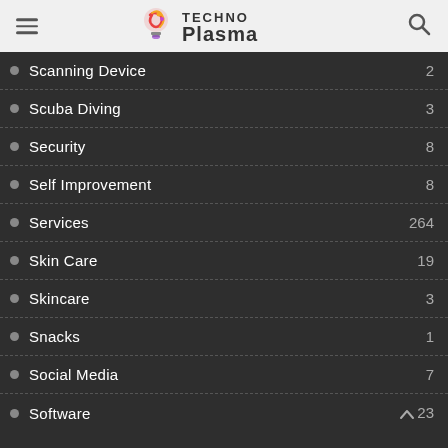Techno Plasma
Scanning Device 2
Scuba Diving 3
Security 8
Self Improvement 8
Services 264
Skin Care 19
Skincare 3
Snacks 1
Social Media 7
Software 23